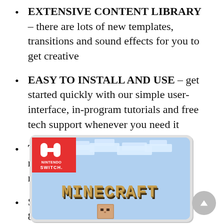EXTENSIVE CONTENT LIBRARY – there are lots of new templates, transitions and sound effects for you to get creative
EASY TO INSTALL AND USE – get started quickly with our simple user-interface, in-program tutorials and free tech support whenever you need it
TIME SAVING - Slideshow Studio reduces the waiting time during rendering to a minimum
System requirements - Windows 11, 10, 8.1, 7 (32/64 Bit), single user license
[Figure (photo): Nintendo Switch game case for Minecraft, showing the Nintendo Switch logo in the top-left corner on a red background, and the Minecraft logo in blocky pixel-art font against a light blue sky background with blocky cloud shapes.]